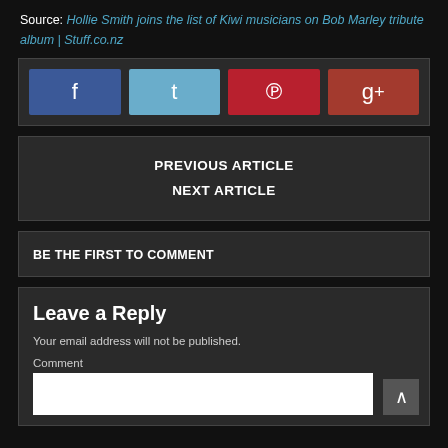Source: Hollie Smith joins the list of Kiwi musicians on Bob Marley tribute album | Stuff.co.nz
[Figure (infographic): Social share buttons: Facebook (blue), Twitter (teal), Pinterest (dark red), Google+ (dark red-brown)]
PREVIOUS ARTICLE
NEXT ARTICLE
BE THE FIRST TO COMMENT
Leave a Reply
Your email address will not be published.
Comment